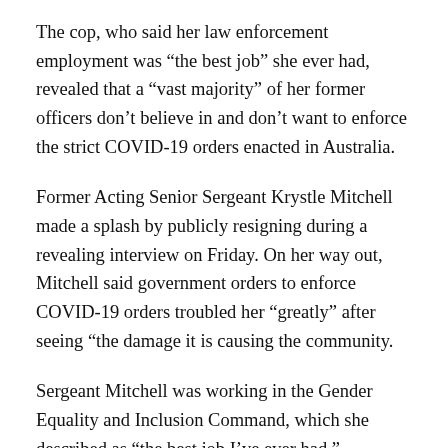The cop, who said her law enforcement employment was “the best job” she ever had, revealed that a “vast majority” of her former officers don’t believe in and don’t want to enforce the strict COVID-19 orders enacted in Australia.
Former Acting Senior Sergeant Krystle Mitchell made a splash by publicly resigning during a revealing interview on Friday. On her way out, Mitchell said government orders to enforce COVID-19 orders troubled her “greatly” after seeing “the damage it is causing the community.
Sergeant Mitchell was working in the Gender Equality and Inclusion Command, which she described as “the best job I’ve ever had.”
“I couldn’t be happier in terms of the work that I do on a daily